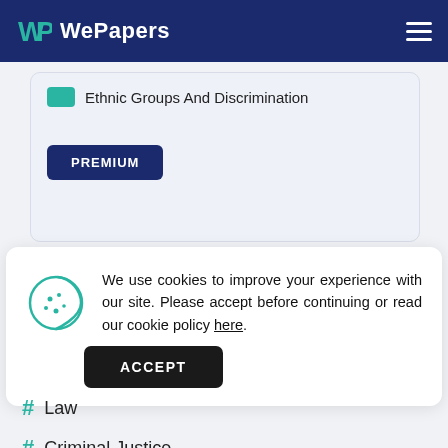WePapers
Ethnic Groups And Discrimination
PREMIUM
We use cookies to improve your experience with our site. Please accept before continuing or read our cookie policy here.
ACCEPT
# Law
# Criminal Justice